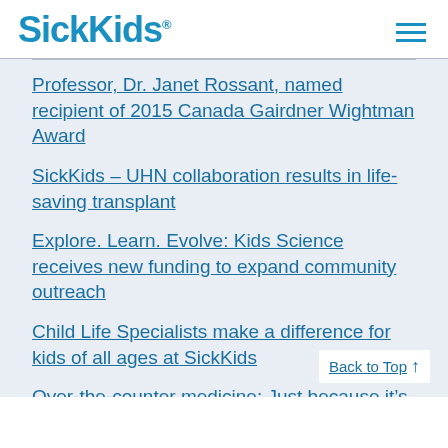SickKids
Professor, Dr. Janet Rossant, named recipient of 2015 Canada Gairdner Wightman Award
SickKids – UHN collaboration results in life-saving transplant
Explore. Learn. Evolve: Kids Science receives new funding to expand community outreach
Child Life Specialists make a difference for kids of all ages at SickKids
Over-the-counter medicine: Just because it's not prescription doesn't mean it can't cause harm
SickKids study finds isotonic IV maintenar in general paediatric population
Back to Top ↑